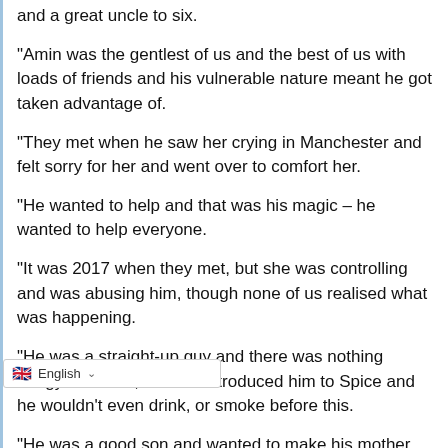and a great uncle to six.
"Amin was the gentlest of us and the best of us with loads of friends and his vulnerable nature meant he got taken advantage of.
"They met when he saw her crying in Manchester and felt sorry for her and went over to comfort her.
"He wanted to help and that was his magic – he wanted to help everyone.
"It was 2017 when they met, but she was controlling and was abusing him, though none of us realised what was happening.
"He was a straight-up guy and there was nothing dodgy in his life, but she introduced him to Spice and he wouldn't even drink, or smoke before this.
"He was a good son and wanted to make his mother